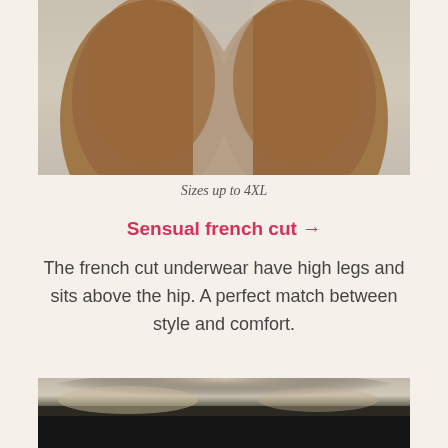[Figure (photo): Close-up photo of a person's upper thighs and hips from behind, showing skin with underwear at the top edge, neutral gray background]
Sizes up to 4XL
Sensual french cut →
The french cut underwear have high legs and sits above the hip. A perfect match between style and comfort.
[Figure (photo): Close-up photo of a person wearing black high-waisted underwear/shorts, showing waist and hip area, light gray background]